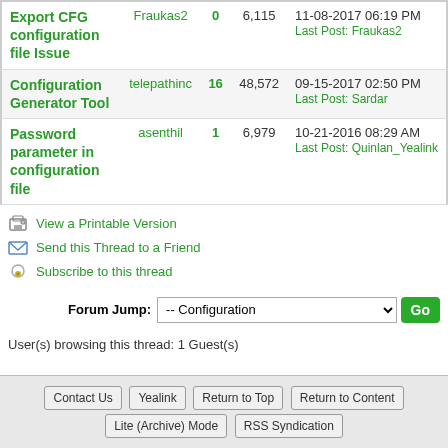| Thread | Author | Replies | Views | Last Post |
| --- | --- | --- | --- | --- |
| Export CFG configuration file Issue | Fraukas2 | 0 | 6,115 | 11-08-2017 06:19 PM
Last Post: Fraukas2 |
| Configuration Generator Tool | telepathinc | 16 | 48,572 | 09-15-2017 02:50 PM
Last Post: Sardar |
| Password parameter in configuration file | asenthil | 1 | 6,979 | 10-21-2016 08:29 AM
Last Post: Quinlan_Yealink |
View a Printable Version
Send this Thread to a Friend
Subscribe to this thread
Forum Jump: -- Configuration  Go
User(s) browsing this thread: 1 Guest(s)
Contact Us  Yealink  Return to Top  Return to Content  Lite (Archive) Mode  RSS Syndication